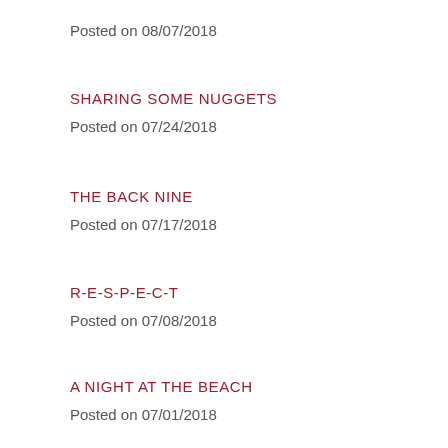Posted on 08/07/2018
SHARING SOME NUGGETS
Posted on 07/24/2018
THE BACK NINE
Posted on 07/17/2018
R-E-S-P-E-C-T
Posted on 07/08/2018
A NIGHT AT THE BEACH
Posted on 07/01/2018
A WEDNESDAY MORNING THOUGHT
Posted on 06/27/2018